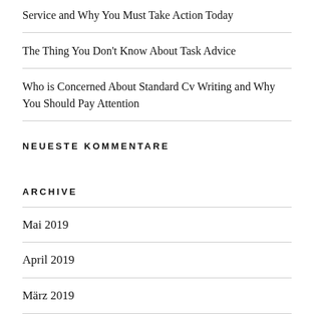Service and Why You Must Take Action Today
The Thing You Don't Know About Task Advice
Who is Concerned About Standard Cv Writing and Why You Should Pay Attention
NEUESTE KOMMENTARE
ARCHIVE
Mai 2019
April 2019
März 2019